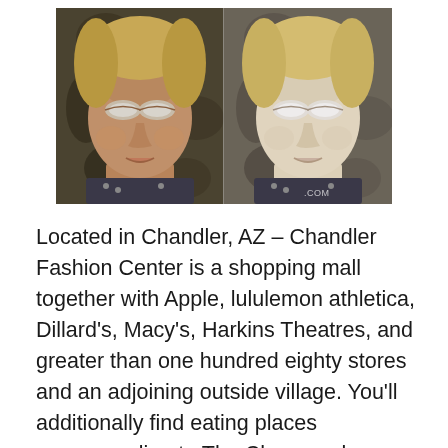[Figure (photo): Two side-by-side photos of a woman with silver/white eye makeup and closed eyes. Left photo shows natural skin tone, right photo shows lighter/more processed skin tone. Dark patterned background. Watermark partially visible reading '.COM' in bottom right.]
Located in Chandler, AZ – Chandler Fashion Center is a shopping mall together with Apple, lululemon athletica, Dillard's, Macy's, Harkins Theatres, and greater than one hundred eighty stores and an adjoining outside village. You'll additionally find eating places corresponding to The Cheesecake Factory, BJ's Restaurant & Brewhouse, Firebirds Wood Fired Grill, P.F. Chang's, and Hop Social Tavern. Your education weaves project-based methodology with social